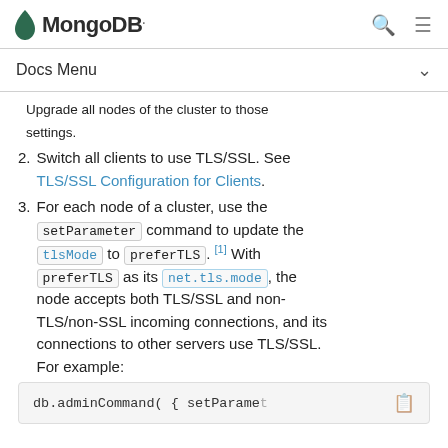MongoDB
Docs Menu
Upgrade all nodes of the cluster to those settings.
2. Switch all clients to use TLS/SSL. See TLS/SSL Configuration for Clients.
3. For each node of a cluster, use the setParameter command to update the tlsMode to preferTLS. [1] With preferTLS as its net.tls.mode, the node accepts both TLS/SSL and non-TLS/non-SSL incoming connections, and its connections to other servers use TLS/SSL. For example:
db.adminCommand( { setParamet